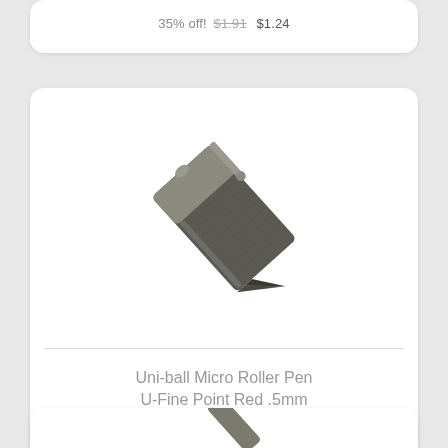35% off!  $1.91  $1.24
[Figure (photo): A Uni-ball Micro Roller Pen, slim metallic barrel, shown diagonally on white background]
Uni-ball Micro Roller Pen U-Fine Point Red .5mm
35% off!  $1.91  $1.24
[Figure (photo): Partially visible product image at bottom of page]